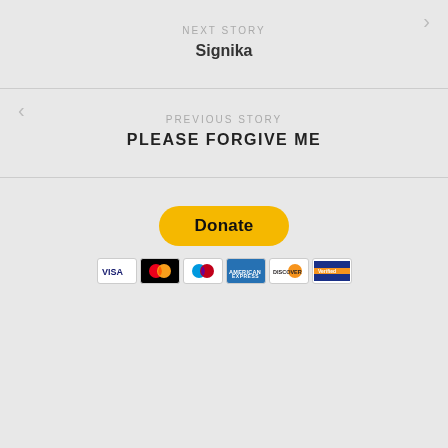NEXT STORY
Signika
PREVIOUS STORY
PLEASE FORGIVE ME
[Figure (other): PayPal Donate button with payment card icons including Visa, Mastercard, Maestro, American Express, Discover, and Verified by Visa]